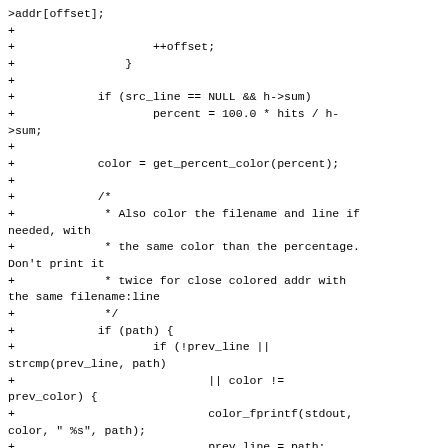Code diff showing C source additions with git diff format, including logic for percent calculation, color assignment, and conditional filename/line printing.